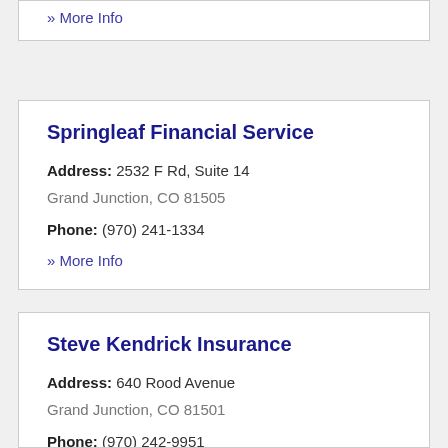» More Info
Springleaf Financial Service
Address: 2532 F Rd, Suite 14
Grand Junction, CO 81505
Phone: (970) 241-1334
» More Info
Steve Kendrick Insurance
Address: 640 Rood Avenue
Grand Junction, CO 81501
Phone: (970) 242-9951
» More Info